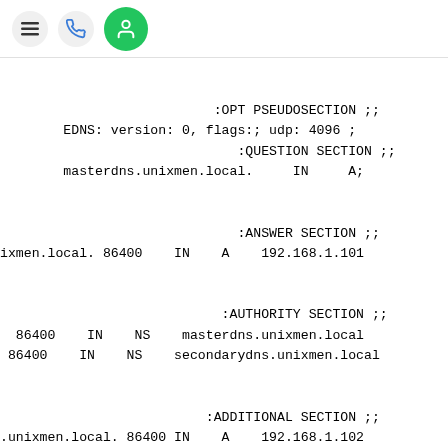[Figure (screenshot): Mobile browser navigation bar with hamburger menu icon, phone icon, and green user/account icon]
;1, ANSWER: 1, AUTHORITY: 2, ADDITIONAL: 2 ;;
;; OPT PSEUDOSECTION
;; EDNS: version: 0, flags:; udp: 4096 ;
;; QUESTION SECTION ;;
;masterdns.unixmen.local.    IN    A;

;; ANSWER SECTION ;;
ixmen.local. 86400    IN    A    192.168.1.101

;; AUTHORITY SECTION ;;
  86400    IN    NS    masterdns.unixmen.local
  86400    IN    NS    secondarydns.unixmen.local

;; ADDITIONAL SECTION ;;
.unixmen.local. 86400 IN    A    192.168.1.102

;; Query time: 0 msec ;;
;; SERVER: 192.168.1.102#53(192.168.1.102) ;;
;; WHEN: Wed Aug 20 17:04:30 IST 2014 ;;
;; <MSG SIZE  rcvd: 125</pre ;;
<pre>